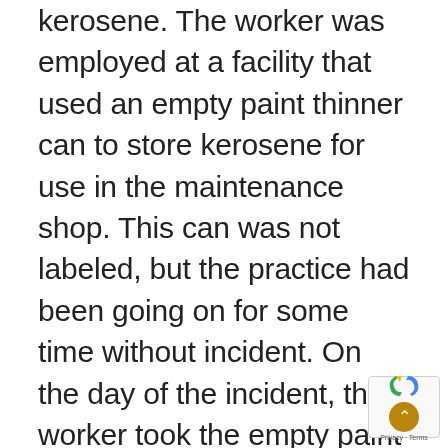kerosene. The worker was employed at a facility that used an empty paint thinner can to store kerosene for use in the maintenance shop. This can was not labeled, but the practice had been going on for some time without incident. On the day of the incident, the worker took the empty paint thinner can to the local gas station, which had one pump connected to a kerosene tank. While the worker was filling the empty container with